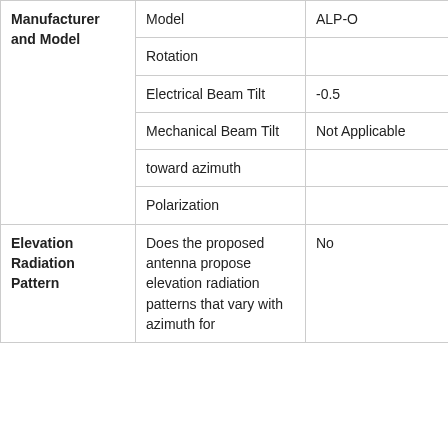|  |  |  |
| --- | --- | --- |
| Manufacturer and Model | Model | ALP-O |
|  | Rotation |  |
|  | Electrical Beam Tilt | -0.5 |
|  | Mechanical Beam Tilt | Not Applicable |
|  | toward azimuth |  |
|  | Polarization |  |
| Elevation Radiation Pattern | Does the proposed antenna propose elevation radiation patterns that vary with azimuth for | No |